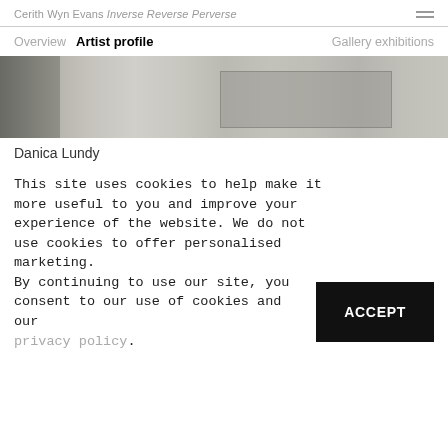Cerith Wyn Evans Inverse Reverse Perverse
Overview  Artist profile  Gallery exhibitions
[Figure (photo): Grayscale photograph of an interior space, likely an art installation, with muted tones and a rectangular object visible.]
Danica Lundy
This site uses cookies to help make it more useful to you and improve your experience of the website. We do not use cookies to offer personalised marketing.
By continuing to use our site, you consent to our use of cookies and our privacy policy.